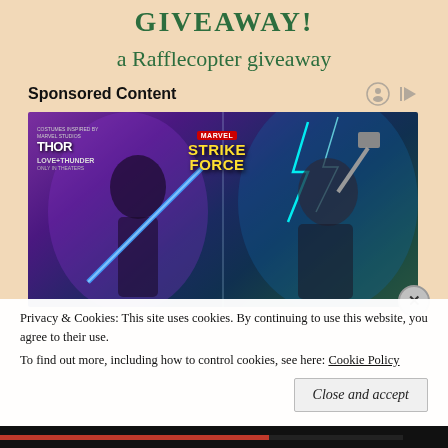GIVEAWAY!
a Rafflecopter giveaway
Sponsored Content
[Figure (photo): Marvel Strike Force game advertisement featuring two female Marvel characters — one in dark armor with a blue energy sword and one as Thor with a hammer and lightning, with Thor Love and Thunder movie branding]
Privacy & Cookies: This site uses cookies. By continuing to use this website, you agree to their use.
To find out more, including how to control cookies, see here: Cookie Policy
Close and accept